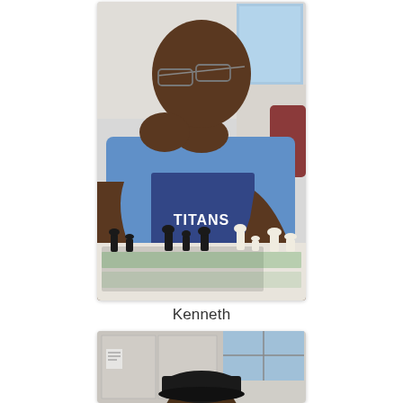[Figure (photo): A young boy wearing glasses and a blue Titans jersey sits at a chess board, resting his chin on his hands in a thinking pose. Chess pieces (black and white) are visible on the board in front of him.]
Kenneth
[Figure (photo): Partial view of another person at a chess setting. A window and room interior are visible in the background. The subject is wearing a black cap.]